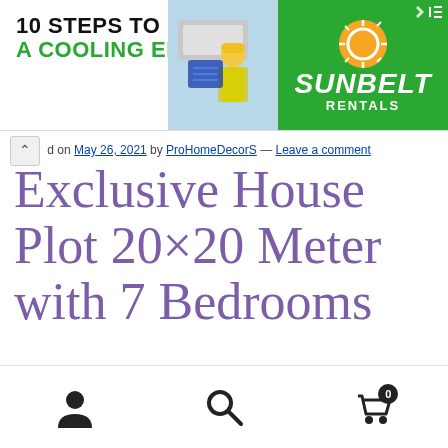[Figure (screenshot): Advertisement banner: '10 STEPS TO PREPARE FOR A COOLING EMERGENCY' with Sunbelt Rentals logo and worker photo on green background]
d on May 26, 2021 by ProHomeDecorS — Leave a comment
Exclusive House Plot 20×20 Meter with 7 Bedrooms
[Figure (photo): Floor plan thumbnails (top row and partial bottom row) and exterior rendering of a modern multi-story house with blue sky background]
[Figure (screenshot): Bottom navigation bar with user profile icon, search icon, and shopping cart icon with badge showing 0]